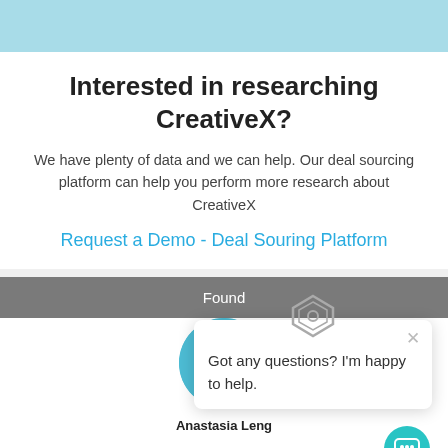[Figure (screenshot): Light blue top banner strip]
Interested in researching CreativeX?
We have plenty of data and we can help. Our deal sourcing platform can help you perform more research about CreativeX
Request a Demo - Deal Souring Platform
[Figure (screenshot): Website screenshot showing a founder section with a chat popup widget that says 'Got any questions? I'm happy to help.' with a chat bot icon, close button, and a LinkedIn profile for Anastasia Leng]
Found
Got any questions? I'm happy to help.
Anastasia Leng